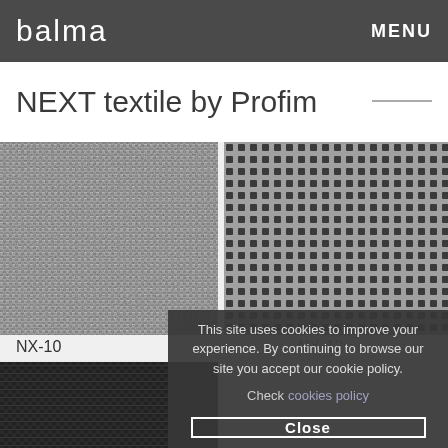balma | MENU
NEXT textile by Profim
[Figure (photo): Close-up of NX-10 grey woven textile fabric]
NX-10
[Figure (photo): Close-up of NX-12 dark square-patterned textile fabric]
NX-12
[Figure (photo): Partial view of bottom textile fabric, dark colour]
This site uses cookies to improve your experience. By continuing to browse our site you accept our cookie policy.
Check cookies policy
Close